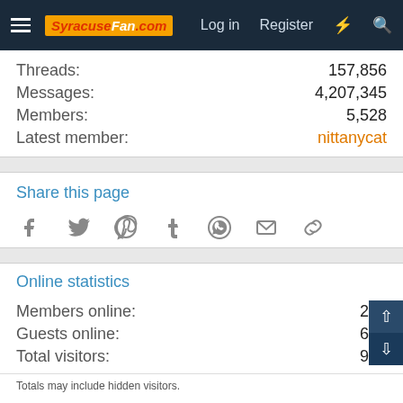SyracuseFan.com — Log in | Register
Threads: 157,856
Messages: 4,207,345
Members: 5,528
Latest member: nittanycat
Share this page
[Figure (infographic): Social share icons: Facebook, Twitter, Pinterest, Tumblr, WhatsApp, Email, Link]
Online statistics
Members online: 212
Guests online: 690
Total visitors: 902
Totals may include hidden visitors.